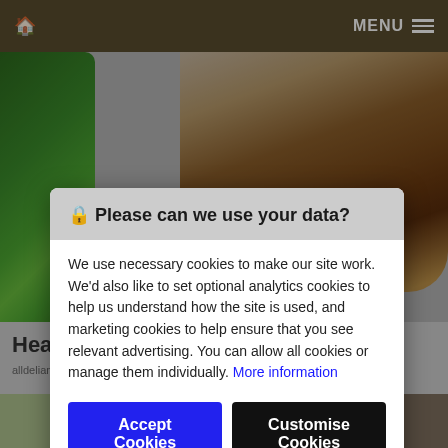🏠  MENU ≡
[Figure (photo): Food website background showing broccoli and green vegetables on the left side and a large burger/sandwich on the right side against a grey background.]
🔒 Please can we use your data?
We use necessary cookies to make our site work. We'd also like to set optional analytics cookies to help us understand how the site is used, and marketing cookies to help ensure that you see relevant advertising. You can allow all cookies or manage them individually. More information
Accept Cookies
Customise Cookies
Hea
alldelian.com